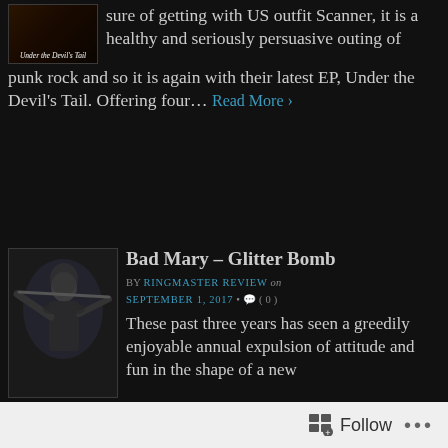sure of getting with US outfit Scanner, it is a healthy and seriously persuasive outing of punk rock and so it is again with their latest EP, Under the Devil's Tail. Offering four… Read More ›
[Figure (photo): Album cover thumbnail with text 'Under the Devil's Tail' on dark background]
Bad Mary – Glitter Bomb
BY RINGMASTER REVIEW on SEPTEMBER 1, 2017 • ( 0 )
[Figure (photo): Black and white photo of a woman playing flute/instrument, dark moody lighting]
These past three years has seen a greedily enjoyable annual expulsion of attitude and fun in the shape of a new EP from US rockers Bad Mary. This year's riot comes in the shape of Glitter Bomb, an upcoming six… Read More ›
Yorkshire Rats – Self Titled EP
BY RINGMASTER REVIEW on